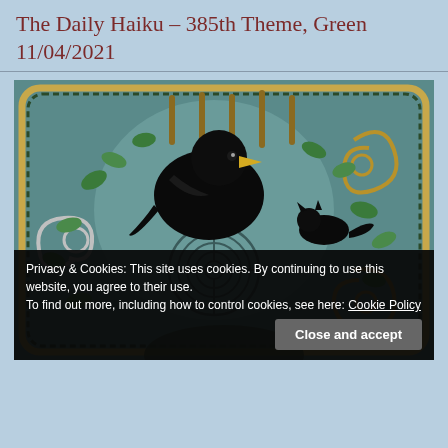The Daily Haiku – 385th Theme, Green 11/04/2021
[Figure (illustration): Folk art style painting with a large black bird (crow/raven) with yellow beak perched centrally, surrounded by decorative Celtic/folk motifs including green leaves, spiral ferns, cattails, a labyrinth pattern, and a braided border, all on a teal-green background. Partial view of a figure at bottom.]
Privacy & Cookies: This site uses cookies. By continuing to use this website, you agree to their use.
To find out more, including how to control cookies, see here: Cookie Policy
Close and accept